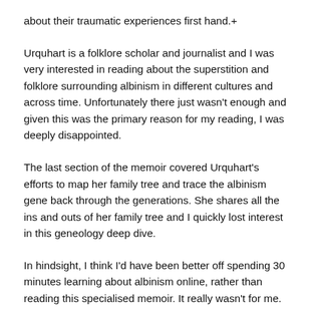about their traumatic experiences first hand.+
Urquhart is a folklore scholar and journalist and I was very interested in reading about the superstition and folklore surrounding albinism in different cultures and across time. Unfortunately there just wasn't enough and given this was the primary reason for my reading, I was deeply disappointed.
The last section of the memoir covered Urquhart's efforts to map her family tree and trace the albinism gene back through the generations. She shares all the ins and outs of her family tree and I quickly lost interest in this geneology deep dive.
In hindsight, I think I'd have been better off spending 30 minutes learning about albinism online, rather than reading this specialised memoir. It really wasn't for me.